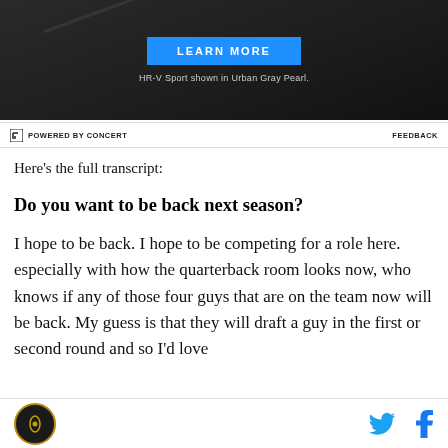[Figure (other): Honda HR-V advertisement banner with dark background and a blue LEARN MORE button. Caption reads: HR-V Sport shown in Urban Gray Pearl.]
POWERED BY CONCERT   FEEDBACK
Here's the full transcript:
Do you want to be back next season?
I hope to be back. I hope to be competing for a role here. especially with how the quarterback room looks now, who knows if any of those four guys that are on the team now will be back. My guess is that they will draft a guy in the first or second round and so I'd love
SB Nation logo | Twitter icon | Facebook icon